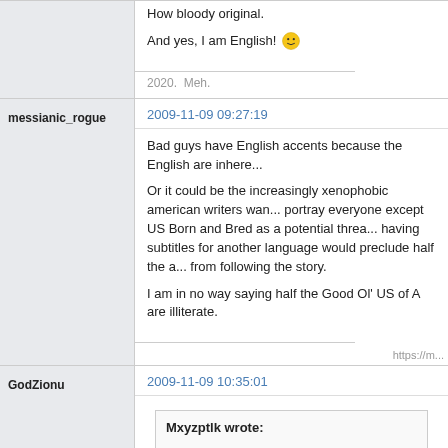How bloody original.

And yes, I am English! 🙂
2020.  Meh.
messianic_rogue
2009-11-09 09:27:19
Bad guys have English accents because the English are inhere...

Or it could be the increasingly xenophobic american writers wan... portray everyone except US Born and Bred as a potential threa... having subtitles for another language would preclude half the a... from following the story.

I am in no way saying half the Good Ol' US of A are illiterate.
https://m...
GodZionu
2009-11-09 10:35:01
Mxyzptlk wrote: